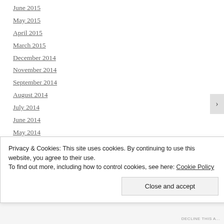June 2015
May 2015
April 2015
March 2015
December 2014
November 2014
September 2014
August 2014
July 2014
June 2014
May 2014
April 2014
March 2014
Privacy & Cookies: This site uses cookies. By continuing to use this website, you agree to their use. To find out more, including how to control cookies, see here: Cookie Policy
Close and accept